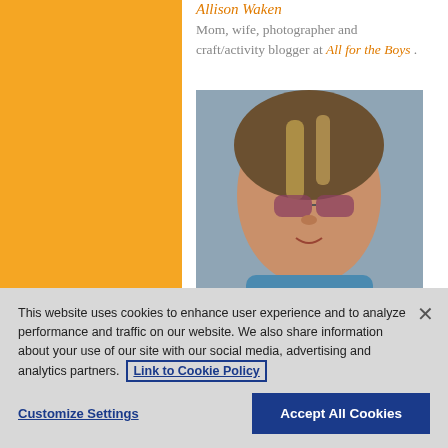Allison Waken
Mom, wife, photographer and craft/activity blogger at All for the Boys .
[Figure (photo): Portrait photo of Amanda Formaro, a woman with highlighted hair and tinted glasses, sitting in a car wearing a blue top.]
Amanda Formaro
Creator of great kid projects and do-together art activities at Crafts by Amanda .
[Figure (photo): Partial view of another profile photo at the bottom of the page.]
This website uses cookies to enhance user experience and to analyze performance and traffic on our website. We also share information about your use of our site with our social media, advertising and analytics partners. Link to Cookie Policy
Customize Settings
Accept All Cookies